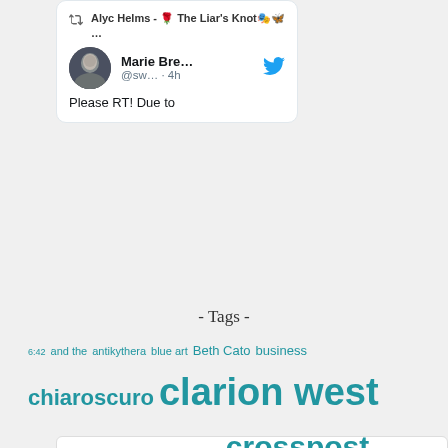[Figure (screenshot): Embedded tweet card showing a retweet by Alyc Helms of a tweet by Marie Bre... (@sw...) posted 4h ago, with text 'Please RT! Due to']
Search ...
- Tags -
6:42 and the antikythera blue art Beth Cato business chiaroscuro clarion west conferences costumes crossover crosspost CW2012 doctor who dragon age dreams exchange fanart fanfic fear compost gaming gender general George Orwell glitter hair harry